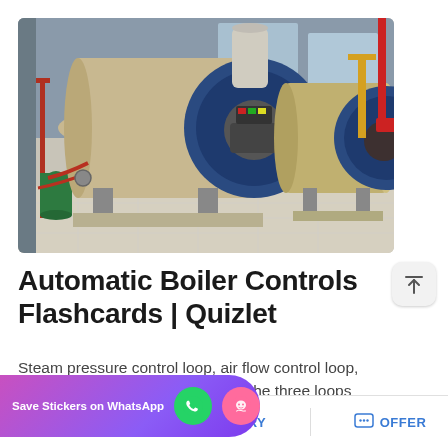[Figure (photo): Two large industrial boilers with blue front panels and beige cylindrical bodies installed in an industrial facility with tiled floor and structural columns. The boilers have burner units and piping attached.]
Automatic Boiler Controls Flashcards | Quizlet
Steam pressure control loop, air flow control loop, ... her loop are the three loops ... utomatic boiler control system?
[Figure (other): Save Stickers on WhatsApp promotional banner overlay with phone icon (green circle) and ghost icon (pink circle)]
MAIL   ADVISORY   OFFER